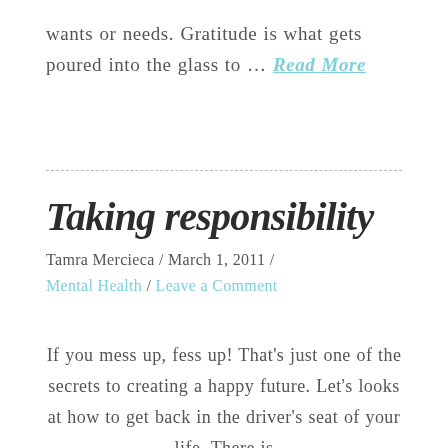wants or needs. Gratitude is what gets poured into the glass to … Read More
Taking responsibility
Tamra Mercieca / March 1, 2011 / Mental Health / Leave a Comment
If you mess up, fess up! That's just one of the secrets to creating a happy future. Let's looks at how to get back in the driver's seat of your life. There is